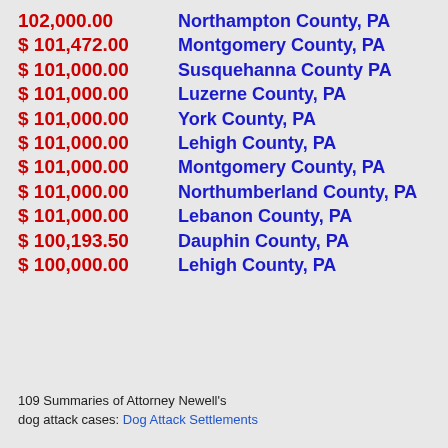102,000.00   Northampton County, PA
$ 101,472.00   Montgomery County, PA
$ 101,000.00   Susquehanna County PA
$ 101,000.00   Luzerne County, PA
$ 101,000.00   York County, PA
$ 101,000.00   Lehigh County, PA
$ 101,000.00   Montgomery County, PA
$ 101,000.00   Northumberland County, PA
$ 101,000.00   Lebanon County, PA
$ 100,193.50   Dauphin County, PA
$ 100,000.00   Lehigh County, PA
109 Summaries of Attorney Newell's dog attack cases: Dog Attack Settlements